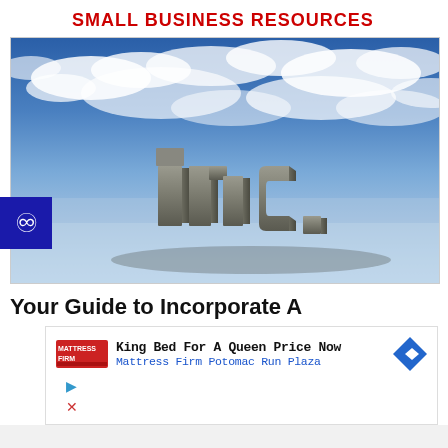SMALL BUSINESS RESOURCES
[Figure (photo): Stone 3D letters spelling 'inc.' against a blue cloudy sky background]
Your Guide to Incorporate A
[Figure (infographic): Advertisement: King Bed For A Queen Price Now - Mattress Firm Potomac Run Plaza]